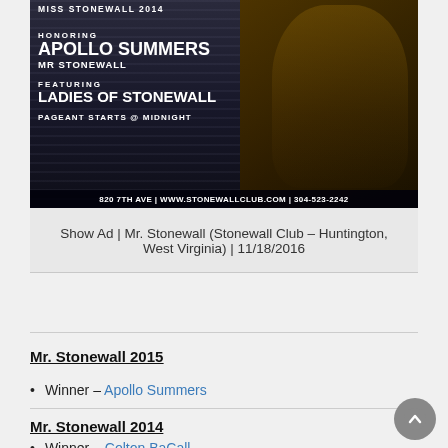[Figure (photo): Show advertisement for Mr. Stonewall pageant featuring text: 'Miss Stonewall 2014', 'Honoring Apollo Summers Mr Stonewall', 'Featuring Ladies of Stonewall', 'Pageant Starts @ Midnight', '820 7th Ave | www.stonewallclub.com | 304-523-2242'. A performer in gold costume is visible on the right side.]
Show Ad | Mr. Stonewall (Stonewall Club – Huntington, West Virginia) | 11/18/2016
Mr. Stonewall 2015
Winner – Apollo Summers
Mr. Stonewall 2014
Winner – Colton BaCall